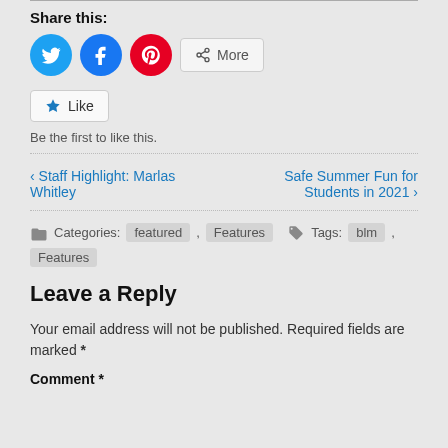Share this:
[Figure (infographic): Social share buttons: Twitter (blue circle), Facebook (blue circle), Pinterest (red circle), and a More button]
[Figure (infographic): Like button widget with star icon]
Be the first to like this.
‹ Staff Highlight: Marlas Whitley   Safe Summer Fun for Students in 2021 ›
Categories: featured , Features   Tags: blm , Features
Leave a Reply
Your email address will not be published. Required fields are marked *
Comment *